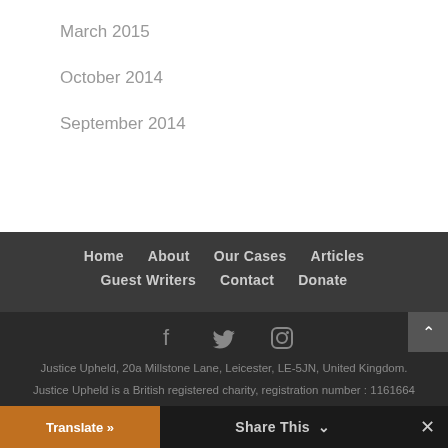March 2015
October 2014
September 2014
Home  About  Our Cases  Articles  Guest Writers  Contact  Donate
Justice Upheld, 20a Millstone Lane, Leicester, LE-5JN, United Kingdom.
Justice Upheld is a British registered charity, registration number : 1161664
Copyright © 2016. Justice Upheld.
Translate »  Share This  ×